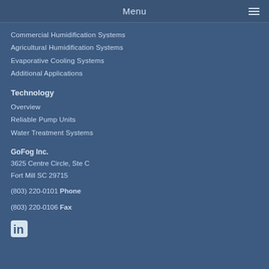Menu
Commercial Humidification Systems
Agricultural Humidification Systems
Evaporative Cooling Systems
Additional Applications
Technology
Overview
Reliable Pump Units
Water Treatment Systems
GoFog Inc.
3625 Centre Circle, Ste C
Fort Mill SC 29715
(803) 220-0101 Phone
(803) 220-0106 Fax
[Figure (logo): LinkedIn icon — stylized 'in' in white on a rounded square background]